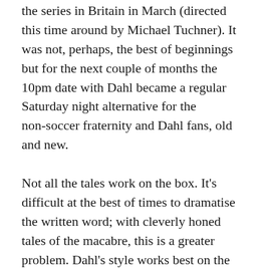the series in Britain in March (directed this time around by Michael Tuchner). It was not, perhaps, the best of beginnings but for the next couple of months the 10pm date with Dahl became a regular Saturday night alternative for the non-soccer fraternity and Dahl fans, old and new.
Not all the tales work on the box. It's difficult at the best of times to dramatise the written word; with cleverly honed tales of the macabre, this is a greater problem. Dahl's style works best on the written page, or indeed read or acted on radio. Anglia, however, pulled out every stop to vault the recognised hurdles. Producer John Rosenberg collected a posse of